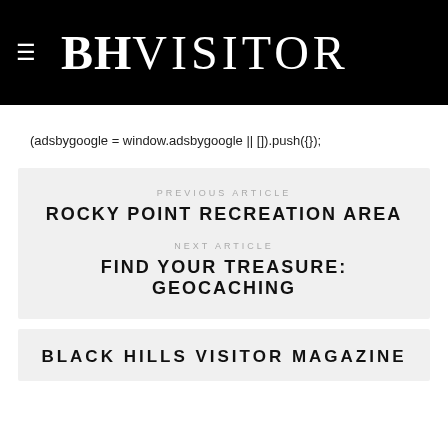BHVISITOR
(adsbygoogle = window.adsbygoogle || []).push({});
PREVIOUS ARTICLE
ROCKY POINT RECREATION AREA
NEXT ARTICLE
FIND YOUR TREASURE: GEOCACHING
BLACK HILLS VISITOR MAGAZINE